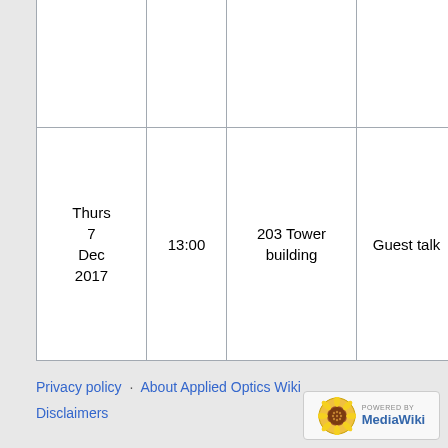| Date | Time | Place | Event |
| --- | --- | --- | --- |
| 2017 |  | Glasgow | meeting |
| Thurs 30 Nov 2017 | 13:00 | 203 Tower building | Guest talk |
| Thurs 7 Dec 2017 | 13:00 | 203 Tower building | Guest talk |
Privacy policy · About Applied Optics Wiki · Disclaimers